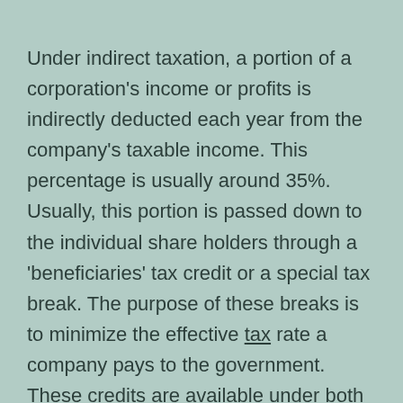Under indirect taxation, a portion of a corporation's income or profits is indirectly deducted each year from the company's taxable income. This percentage is usually around 35%. Usually, this portion is passed down to the individual share holders through a 'beneficiaries' tax credit or a special tax break. The purpose of these breaks is to minimize the effective tax rate a company pays to the government. These credits are available under both charter and individual stocks.